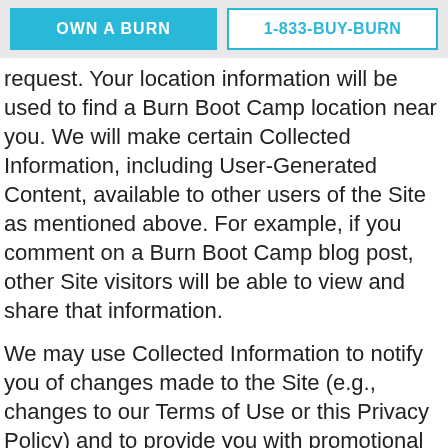OWN A BURN | 1-833-BUY-BURN
request. Your location information will be used to find a Burn Boot Camp location near you. We will make certain Collected Information, including User-Generated Content, available to other users of the Site as mentioned above. For example, if you comment on a Burn Boot Camp blog post, other Site visitors will be able to view and share that information.
We may use Collected Information to notify you of changes made to the Site (e.g., changes to our Terms of Use or this Privacy Policy) and to provide you with promotional materials and other communications as described above. If you send us an email inquiry, we will use your email address to respond to the email inquiry we receive. If you